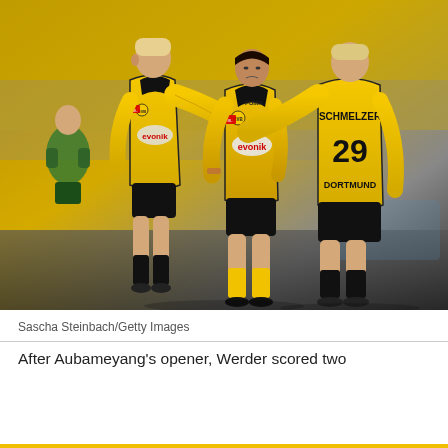[Figure (photo): Three Borussia Dortmund players in yellow and black jerseys celebrating on a football pitch. The player on the right has 'SCHMELZER 29 DORTMUND' on his back. The two players on the left wear jerseys with the evonik sponsor logo and BVB badge. A goalkeeper in green is visible in the background.]
Sascha Steinbach/Getty Images
After Aubameyang's opener, Werder scored two